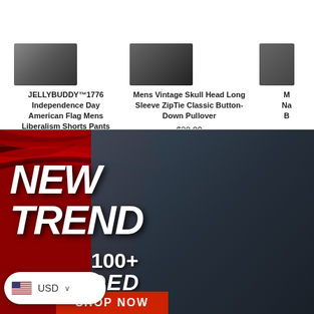JELLYBUDDY™1776 Independence Day American Flag Mens Liberalism Shorts Pants
$38.99
Mens Vintage Skull Head Long Sleeve ZipTie Classic Button-Down Pullover
$28.99
M Na B
[Figure (photo): Promotional banner with dark background showing a muscular man wearing a sleeveless graphic t-shirt with chain necklace. Red and black brush stroke background on left. White bold italic text reads NEW TREND. Text below reads 100+ ADDED. Red button at bottom reads SHOP NOW. Currency selector widget showing USD with US flag in lower left.]
NEW TREND
100+
ADDED
SHOP NOW
USD